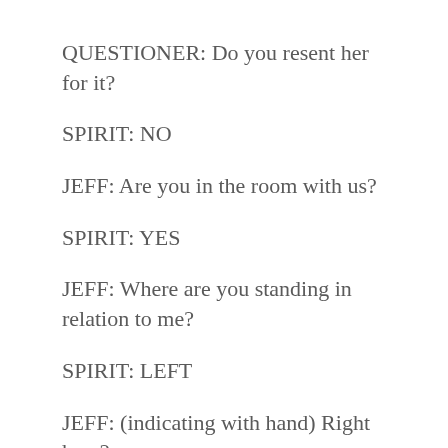QUESTIONER: Do you resent her for it?
SPIRIT: NO
JEFF: Are you in the room with us?
SPIRIT: YES
JEFF: Where are you standing in relation to me?
SPIRIT: LEFT
JEFF: (indicating with hand) Right here?